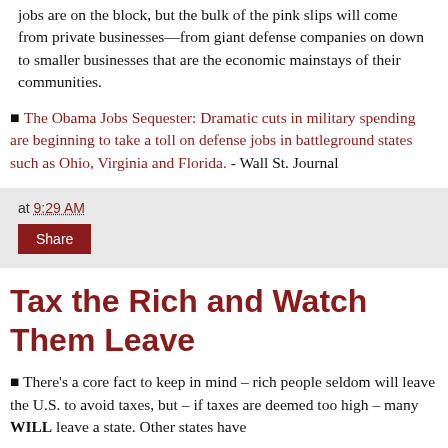jobs are on the block, but the bulk of the pink slips will come from private businesses—from giant defense companies on down to smaller businesses that are the economic mainstays of their communities.
■ The Obama Jobs Sequester: Dramatic cuts in military spending are beginning to take a toll on defense jobs in battleground states such as Ohio, Virginia and Florida. - Wall St. Journal
at 9:29 AM
Share
Tax the Rich and Watch Them Leave
■ There's a core fact to keep in mind – rich people seldom will leave the U.S. to avoid taxes, but – if taxes are deemed too high – many WILL leave a state. Other states have